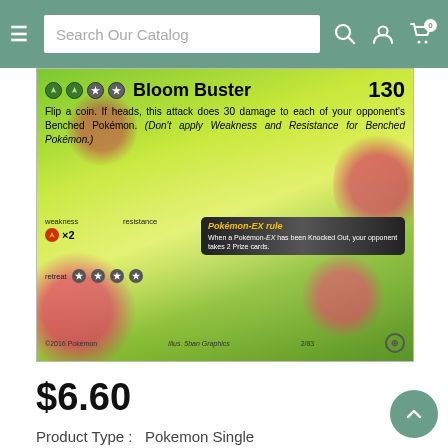Search Our Catalog
[Figure (photo): Pokemon card M Venusaur EX (2/83) showing Bloom Buster attack for 130 damage, weakness fire x2, retreat cost 4, Pokemon-EX rule, illustrated by 5ban Graphics, 2/83, ©2016 Pokemon]
$6.60
Product Type :   Pokemon Single
Add To Wishlist    Grading Guide
Sorry! Our M Venusaur EX (2/83) [XY: Generations] Is Currently   Sold Out.